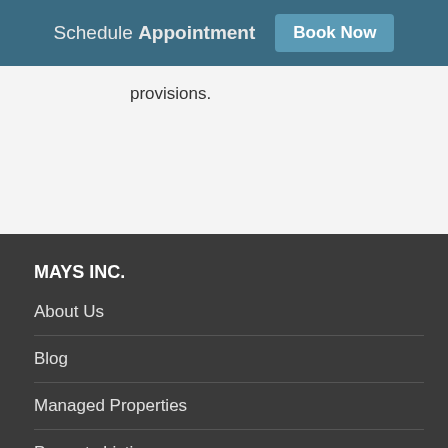Schedule Appointment  Book Now
provisions.
MAYS INC.
About Us
Blog
Managed Properties
Property Listings
Location - Google Map®